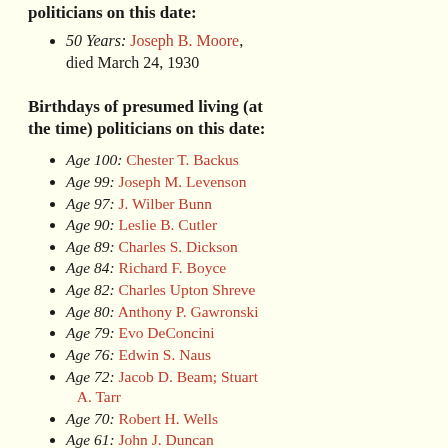politicians on this date:
50 Years: Joseph B. Moore, died March 24, 1930
Birthdays of presumed living (at the time) politicians on this date:
Age 100: Chester T. Backus
Age 99: Joseph M. Levenson
Age 97: J. Wilber Bunn
Age 90: Leslie B. Cutler
Age 89: Charles S. Dickson
Age 84: Richard F. Boyce
Age 82: Charles Upton Shreve
Age 80: Anthony P. Gawronski
Age 79: Evo DeConcini
Age 76: Edwin S. Naus
Age 72: Jacob D. Beam; Stuart A. Tarr
Age 70: Robert H. Wells
Age 61: John J. Duncan
Age 60: John C. Godbold
Age 59: Donald J. Porter; J.